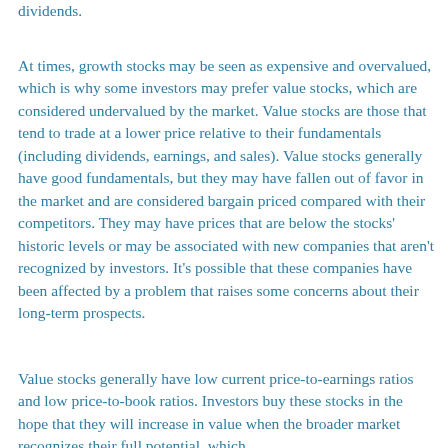dividends.
At times, growth stocks may be seen as expensive and overvalued, which is why some investors may prefer value stocks, which are considered undervalued by the market. Value stocks are those that tend to trade at a lower price relative to their fundamentals (including dividends, earnings, and sales). Value stocks generally have good fundamentals, but they may have fallen out of favor in the market and are considered bargain priced compared with their competitors. They may have prices that are below the stocks' historic levels or may be associated with new companies that aren't recognized by investors. It's possible that these companies have been affected by a problem that raises some concerns about their long-term prospects.
Value stocks generally have low current price-to-earnings ratios and low price-to-book ratios. Investors buy these stocks in the hope that they will increase in value when the broader market recognizes their full potential, which